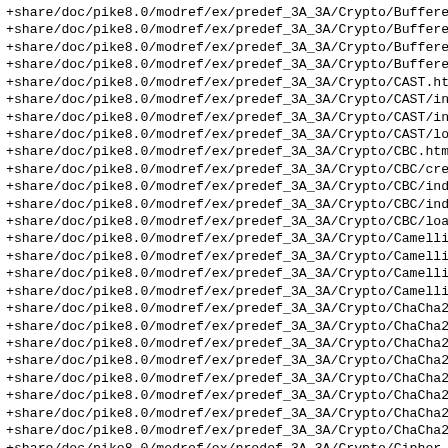+share/doc/pike8.0/modref/ex/predef_3A_3A/Crypto/Buffere
+share/doc/pike8.0/modref/ex/predef_3A_3A/Crypto/Buffere
+share/doc/pike8.0/modref/ex/predef_3A_3A/Crypto/Buffere
+share/doc/pike8.0/modref/ex/predef_3A_3A/Crypto/Buffere
+share/doc/pike8.0/modref/ex/predef_3A_3A/Crypto/CAST.ht
+share/doc/pike8.0/modref/ex/predef_3A_3A/Crypto/CAST/in
+share/doc/pike8.0/modref/ex/predef_3A_3A/Crypto/CAST/in
+share/doc/pike8.0/modref/ex/predef_3A_3A/Crypto/CAST/lo
+share/doc/pike8.0/modref/ex/predef_3A_3A/Crypto/CBC.htm
+share/doc/pike8.0/modref/ex/predef_3A_3A/Crypto/CBC/cre
+share/doc/pike8.0/modref/ex/predef_3A_3A/Crypto/CBC/ind
+share/doc/pike8.0/modref/ex/predef_3A_3A/Crypto/CBC/ind
+share/doc/pike8.0/modref/ex/predef_3A_3A/Crypto/CBC/loa
+share/doc/pike8.0/modref/ex/predef_3A_3A/Crypto/Camelli
+share/doc/pike8.0/modref/ex/predef_3A_3A/Crypto/Camelli
+share/doc/pike8.0/modref/ex/predef_3A_3A/Crypto/Camelli
+share/doc/pike8.0/modref/ex/predef_3A_3A/Crypto/Camelli
+share/doc/pike8.0/modref/ex/predef_3A_3A/Crypto/ChaCha2
+share/doc/pike8.0/modref/ex/predef_3A_3A/Crypto/ChaCha2
+share/doc/pike8.0/modref/ex/predef_3A_3A/Crypto/ChaCha2
+share/doc/pike8.0/modref/ex/predef_3A_3A/Crypto/ChaCha2
+share/doc/pike8.0/modref/ex/predef_3A_3A/Crypto/ChaCha2
+share/doc/pike8.0/modref/ex/predef_3A_3A/Crypto/ChaCha2
+share/doc/pike8.0/modref/ex/predef_3A_3A/Crypto/ChaCha2
+share/doc/pike8.0/modref/ex/predef_3A_3A/Crypto/ChaCha2
+share/doc/pike8.0/modref/ex/predef_3A_3A/Crypto/Cipher.
+share/doc/pike8.0/modref/ex/predef_3A_3A/Crypto/Cipher/
+share/doc/pike8.0/modref/ex/predef_3A_3A/Crypto/Cipher/
+share/doc/pike8.0/modref/ex/predef_3A_3A/Crypto/Cipher/
+share/doc/pike8.0/modref/ex/predef_3A_3A/Crypto/DES.htm
+share/doc/pike8.0/modref/ex/predef_3A_3A/Crypto/DES.ti